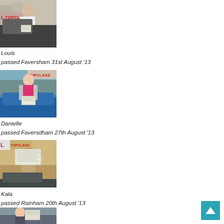[Figure (photo): Young man standing outside holding a certificate, white t-shirt, cars and street in background]
Louis
passed Faversham 31st August '13
[Figure (photo): Young woman standing by a blue car holding a certificate, pink top with grey cardigan]
Danielle
passed Faversdham 27th August '13
[Figure (photo): Young woman holding up a certificate with both hands, smiling, sitting in a car]
Kala
passed Rainham 20th August '13
[Figure (photo): Partial view of another person holding certificate, cropped at bottom of page]